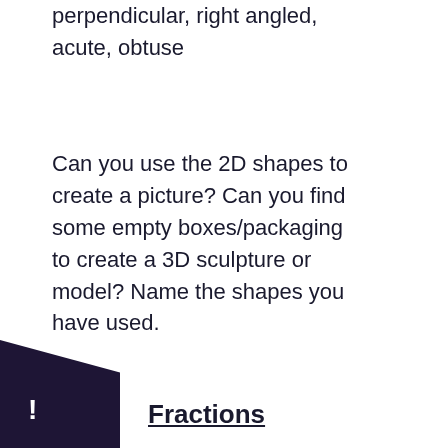perpendicular, right angled, acute, obtuse
Can you use the 2D shapes to create a picture? Can you find some empty boxes/packaging to create a 3D sculpture or model? Name the shapes you have used.
Fractions